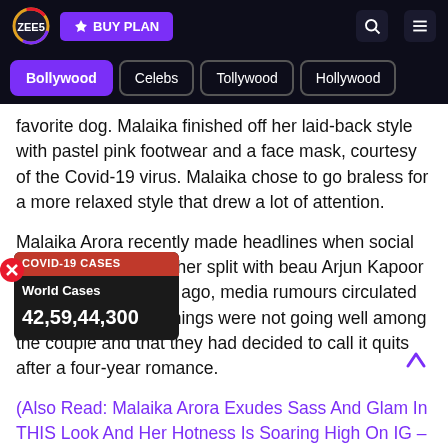[Figure (screenshot): ZEE5 website header with logo, BUY PLAN button, search and menu icons on dark background]
[Figure (screenshot): Navigation tabs: Bollywood (active/purple), Celebs, Tollywood, Hollywood]
favorite dog. Malaika finished off her laid-back style with pastel pink footwear and a face mask, courtesy of the Covid-19 virus. Malaika chose to go braless for a more relaxed style that drew a lot of attention.
Malaika Arora recently made headlines when social media allegations of her split with beau Arjun Kapoor surfaced. A few days ago, media rumours circulated online alleging that things were not going well among the couple and that they had decided to call it quits after a four-year romance.
[Figure (screenshot): COVID-19 CASES widget showing World Cases 42,59,44,300 on dark background with red header]
(Also Read: Malaika Arora Exudes Sass And Glam In THIS Look And Her Hotness Is Soaring High On IG – CHECK OUT)
Arjun Kapoor, 36, uploaded a mirror photo with Malaika on Instagram, laying to rest whispers about their apparent breakup. "Shady rumours have no place here." Keep yourself